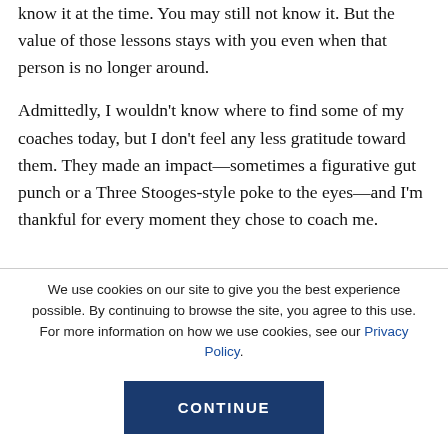know it at the time. You may still not know it. But the value of those lessons stays with you even when that person is no longer around.
Admittedly, I wouldn't know where to find some of my coaches today, but I don't feel any less gratitude toward them. They made an impact—sometimes a figurative gut punch or a Three Stooges-style poke to the eyes—and I'm thankful for every moment they chose to coach me.
We use cookies on our site to give you the best experience possible. By continuing to browse the site, you agree to this use. For more information on how we use cookies, see our Privacy Policy.
CONTINUE